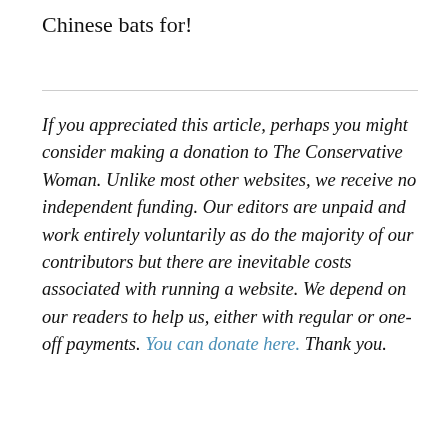Chinese bats for!
If you appreciated this article, perhaps you might consider making a donation to The Conservative Woman. Unlike most other websites, we receive no independent funding. Our editors are unpaid and work entirely voluntarily as do the majority of our contributors but there are inevitable costs associated with running a website. We depend on our readers to help us, either with regular or one-off payments. You can donate here. Thank you.